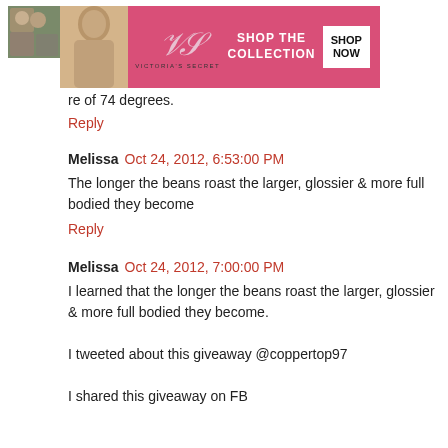[Figure (photo): Avatar photo of two people, small thumbnail]
[Figure (photo): Victoria's Secret advertisement banner with model, VS logo, SHOP THE COLLECTION text, and SHOP NOW button]
re of 74 degrees.
Reply
Melissa  Oct 24, 2012, 6:53:00 PM
The longer the beans roast the larger, glossier & more full bodied they become
Reply
Melissa  Oct 24, 2012, 7:00:00 PM
I learned that the longer the beans roast the larger, glossier & more full bodied they become.

I tweeted about this giveaway @coppertop97

I shared this giveaway on FB